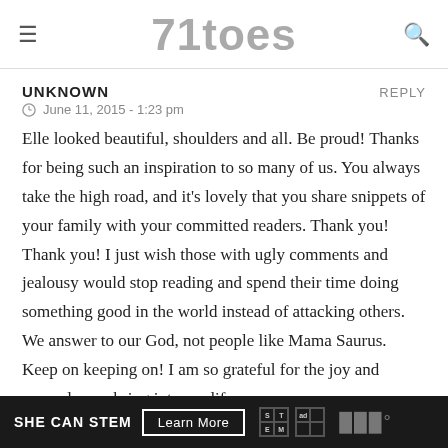71toes
UNKNOWN
June 11, 2015 - 1:23 pm
Elle looked beautiful, shoulders and all. Be proud! Thanks for being such an inspiration to so many of us. You always take the high road, and it's lovely that you share snippets of your family with your committed readers. Thank you! Thank you! I just wish those with ugly comments and jealousy would stop reading and spend their time doing something good in the world instead of attacking others. We answer to our God, not people like Mama Saurus. Keep on keeping on! I am so grateful for the joy and example you bring into my life.
SHE CAN STEM  Learn More